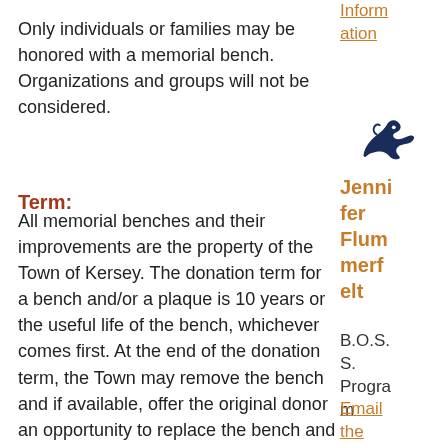Only individuals or families may be honored with a memorial bench. Organizations and groups will not be considered.
Term:
All memorial benches and their improvements are the property of the Town of Kersey. The donation term for a bench and/or a plaque is 10 years or the useful life of the bench, whichever comes first. At the end of the donation term, the Town may remove the bench and if available, offer the original donor an opportunity to replace the bench and plaque. The family may request to have the original plaque returned to them by contacting:
Inform ation
[Figure (logo): Bronco horse head logo in dark blue]
Jennifer Flummerfelt
B.O.S.S. Program
Email the B.O.S.S.